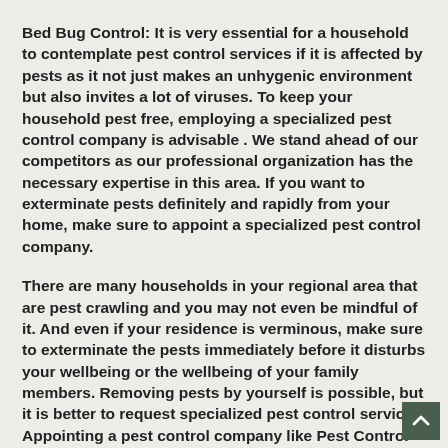Bed Bug Control: It is very essential for a household to contemplate pest control services if it is affected by pests as it not just makes an unhygenic environment but also invites a lot of viruses. To keep your household pest free, employing a specialized pest control company is advisable . We stand ahead of our competitors as our professional organization has the necessary expertise in this area. If you want to exterminate pests definitely and rapidly from your home, make sure to appoint a specialized pest control company.
There are many households in your regional area that are pest crawling and you may not even be mindful of it. And even if your residence is verminous, make sure to exterminate the pests immediately before it disturbs your wellbeing or the wellbeing of your family members. Removing pests by yourself is possible, but it is better to request specialized pest control services. Appointing a pest control company like Pest Control Ottawa Inc provides many gains. We do the work very comfortably and fast as we have many years of experience in this type of job. We take caution of your family during the service call job. Your security is our